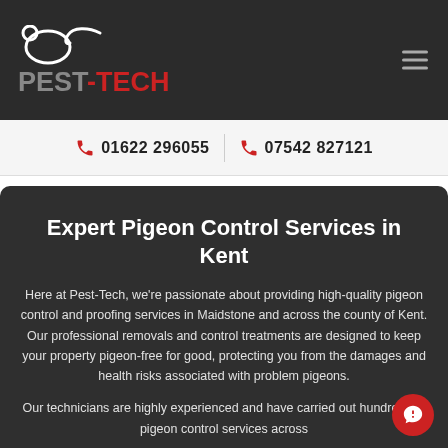PEST-TECH
01622 296055   07542 827121
Expert Pigeon Control Services in Kent
Here at Pest-Tech, we're passionate about providing high-quality pigeon control and proofing services in Maidstone and across the county of Kent. Our professional removals and control treatments are designed to keep your property pigeon-free for good, protecting you from the damages and health risks associated with problem pigeons.
Our technicians are highly experienced and have carried out hundreds of pigeon control services across